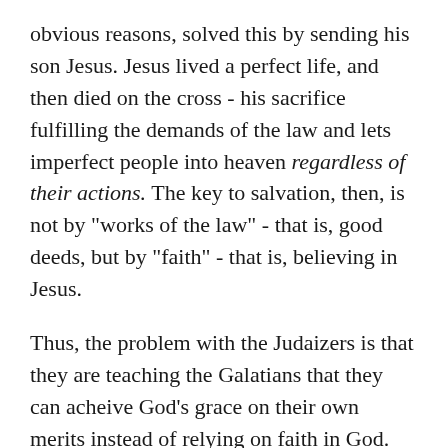obvious reasons, solved this by sending his son Jesus. Jesus lived a perfect life, and then died on the cross - his sacrifice fulfilling the demands of the law and lets imperfect people into heaven regardless of their actions. The key to salvation, then, is not by "works of the law" - that is, good deeds, but by "faith" - that is, believing in Jesus.
Thus, the problem with the Judaizers is that they are teaching the Galatians that they can acheive God's grace on their own merits instead of relying on faith in God. This counters (in the LPP's view) the entire point of Christ's mission and negates the whole point of Jesus's sacrifice! Paul's view of the law is therefore primarily an encouragement - salvation isn't by works and so we don't need to feel guilty about our inability to live perfect laws because we are covered by God's grace and